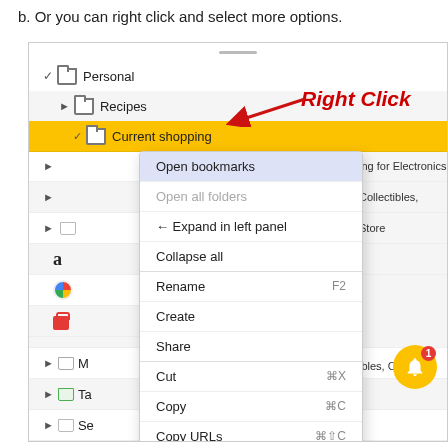b. Or you can right click and select more options.
[Figure (screenshot): A browser bookmarks sidebar showing a context menu opened on 'Current shopping' folder with options: Open bookmarks (highlighted), Open all folders (greyed), Expand in left panel, Collapse all, Rename (F2), Create, Share, Cut (⌘X), Copy (⌘C), Copy URLs (⌘⇧C), Paste (⌘V). A red arrow and 'Right Click' text annotation point to the folder. A notification bell with badge '1' is visible at bottom right.]